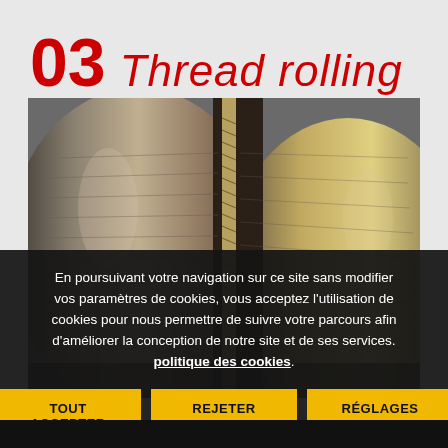03 Thread rolling
[Figure (photo): Close-up photograph of thread rolling machinery showing large metallic rollers with a threaded rod/bolt being formed between them, industrial manufacturing process]
En poursuivant votre navigation sur ce site sans modifier vos paramètres de cookies, vous acceptez l'utilisation de cookies pour nous permettre de suivre votre parcours afin d'améliorer la conception de notre site et de ses services. politique des cookies.
TOUT ACCEPTER
REJETER
RÉGLAGES